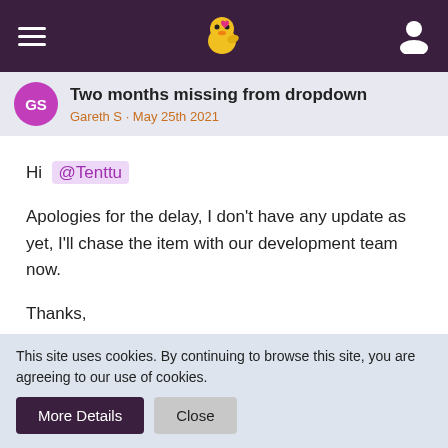Navigation bar with hamburger menu, Chirp logo, and user icon
Two months missing from dropdown
Gareth S · May 25th 2021
Hi @Tenttu

Apologies for the delay, I don't have any update as yet, I'll chase the item with our development team now.

Thanks,
Gareth
Chirp! Your new Community Management Team
Gareth S · May 19th 2021
This site uses cookies. By continuing to browse this site, you are agreeing to our use of cookies.